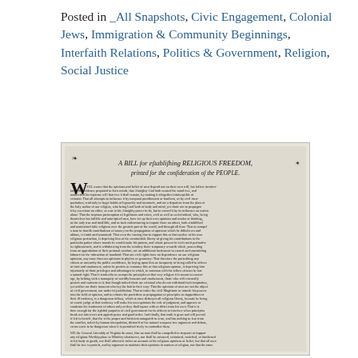Posted in _All Snapshots, Civic Engagement, Colonial Jews, Immigration & Community Beginnings, Interfaith Relations, Politics & Government, Religion, Social Justice
[Figure (photo): A historical document image: 'A BILL for establishing RELIGIOUS FREEDOM, printed for the consideration of the PEOPLE.' — an 18th century printed broadside with dense text in colonial typeface.]